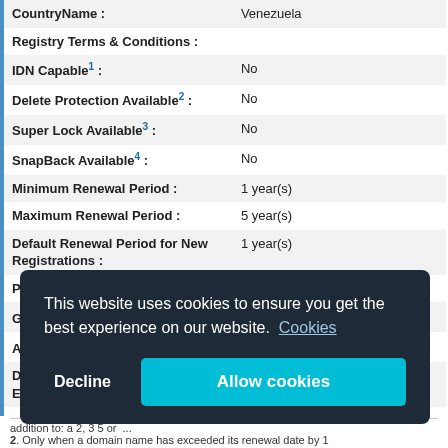| Field | Value |
| --- | --- |
| CountryName : | Venezuela |
| Registry Terms & Conditions : |  |
| IDN Capable¹ : | No |
| Delete Protection Available² : | No |
| Super Lock Available³ : | No |
| SnapBack Available⁴ : | No |
| Minimum Renewal Period : | 1 year(s) |
| Maximum Renewal Period : | 5 year(s) |
| Default Renewal Period for New Registrations : | 1 year(s) |
| Positive Renewal Required : | No |
| Grace Period⁵ : | 5 day(s) |
| Autorenew Grace Period⁶ : | 1 day(s) |
| Domain Must be Renewed Before Expiry : | No |
| Transfer Prohibited Period⁷ : | 60 day(s) |
| Redemption Period⁸ : | None |
This website uses cookies to ensure you get the best experience on our website. Cookies
Decline  Allow cookies
addition to: a 2, 3 5 or ...
2. Only when a domain name has exceeded its renewal date by 1